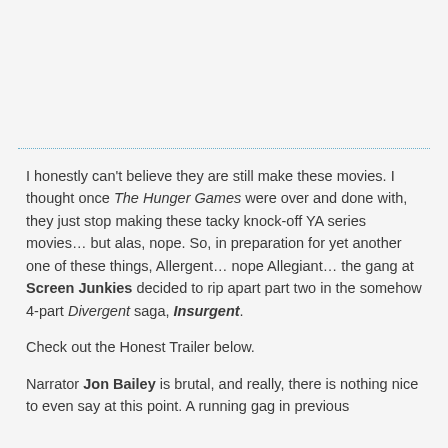I honestly can't believe they are still make these movies. I thought once The Hunger Games were over and done with, they just stop making these tacky knock-off YA series movies… but alas, nope. So, in preparation for yet another one of these things, Allergent… nope Allegiant… the gang at Screen Junkies decided to rip apart part two in the somehow 4-part Divergent saga, Insurgent.
Check out the Honest Trailer below.
Narrator Jon Bailey is brutal, and really, there is nothing nice to even say at this point. A running gag in previous